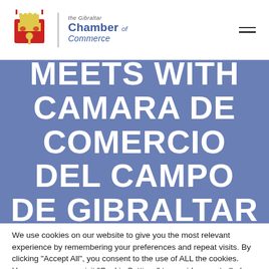[Figure (logo): Gibraltar Chamber of Commerce logo with crest and text]
CHAMBER MEETS WITH CAMARA DE COMERCIO DEL CAMPO DE GIBRALTAR TO
We use cookies on our website to give you the most relevant experience by remembering your preferences and repeat visits. By clicking "Accept All", you consent to the use of ALL the cookies. However, you may visit "Cookie Settings" to provide a controlled consent.